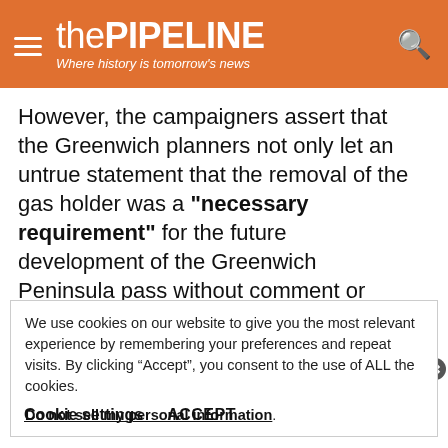thePIPELINE — Where history is tomorrow's news
However, the campaigners assert that the Greenwich planners not only let an untrue statement that the removal of the gas holder was a "necessary requirement" for the future development of the Greenwich Peninsula pass without comment or censure, but that crucially the planners then compounded this error by failing to question SGN/FirstPlan's assertion that the structure had little
We use cookies on our website to give you the most relevant experience by remembering your preferences and repeat visits. By clicking “Accept”, you consent to the use of ALL the cookies.
Do not sell my personal information.
Cookie settings   ACCEPT